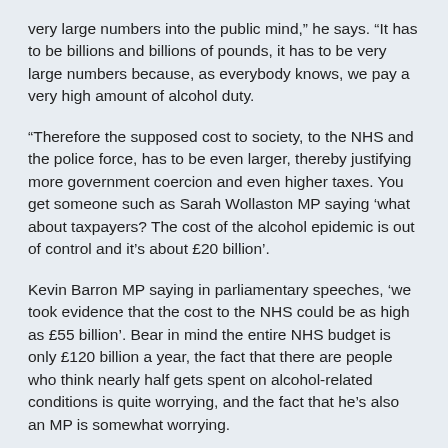very large numbers into the public mind," he says. "It has to be billions and billions of pounds, it has to be very large numbers because, as everybody knows, we pay a very high amount of alcohol duty.
"Therefore the supposed cost to society, to the NHS and the police force, has to be even larger, thereby justifying more government coercion and even higher taxes. You get someone such as Sarah Wollaston MP saying 'what about taxpayers? The cost of the alcohol epidemic is out of control and it's about £20 billion'.
Kevin Barron MP saying in parliamentary speeches, 'we took evidence that the cost to the NHS could be as high as £55 billion'. Bear in mind the entire NHS budget is only £120 billion a year, the fact that there are people who think nearly half gets spent on alcohol-related conditions is quite worrying, and the fact that he's also an MP is somewhat worrying.